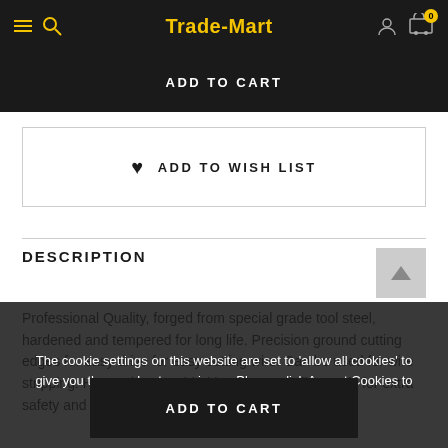Trade-Mart
ADD TO CART
♥ ADD TO WISH LIST
DESCRIPTION
Professional Quality, forged from special grade tool steel, hardened and tempered for long life. Precision ground cutting edges for easy drive for easy cutting wire. Can be used for wire stripping. Heavy duty moulded handles and slipguards for extra safety and comfort.
The cookie settings on this website are set to 'allow all cookies' to give you the very best experience. Please click Accept Cookies to continue to use the site.
PRIVACY POLICY   ACCEPT ✔
ADD TO CART